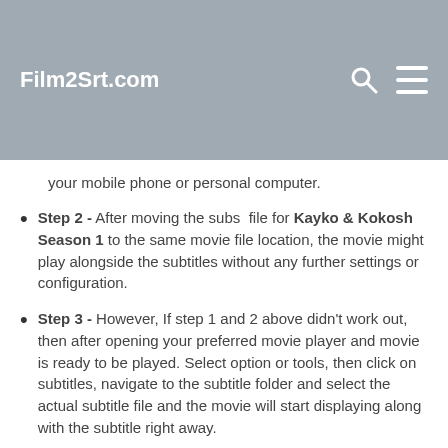Film2Srt.com
your mobile phone or personal computer.
Step 2 - After moving the subs file for Kayko & Kokosh Season 1 to the same movie file location, the movie might play alongside the subtitles without any further settings or configuration.
Step 3 - However, If step 1 and 2 above didn't work out, then after opening your preferred movie player and movie is ready to be played. Select option or tools, then click on subtitles, navigate to the subtitle folder and select the actual subtitle file and the movie will start displaying along with the subtitle right away.